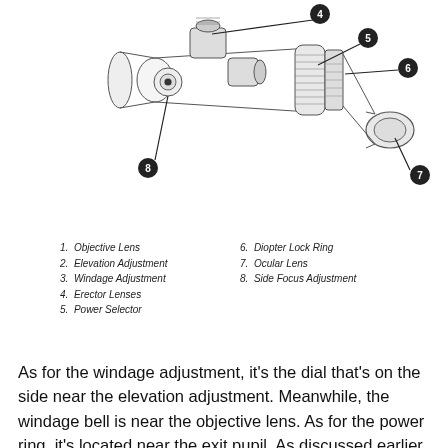[Figure (engineering-diagram): Technical line drawing of a rifle scope with numbered callouts (4, 5, 6, 7, 8) pointing to various parts including Erector Lenses, Power Selector, Diopter Lock Ring, Ocular Lens, and Side Focus Adjustment.]
1.  Objective Lens
2.  Elevation Adjustment
3.  Windage Adjustment
4.  Erector Lenses
5.  Power Selector
6.  Diopter Lock Ring
7.  Ocular Lens
8.  Side Focus Adjustment
As for the windage adjustment, it's the dial that's on the side near the elevation adjustment. Meanwhile, the windage bell is near the objective lens. As for the power ring, it's located near the exit pupil. As discussed earlier, the objective bell is the one that houses the objective lens. What's more, riflescopes essentially work like telescopes. The ocular lens is the lens that magnifies the light from the focal point after it passes through the objective lens. The image you see when you look at a scope through the exit lens is the light